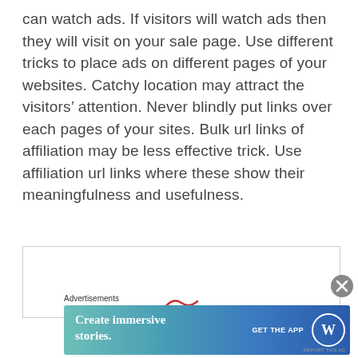can watch ads. If visitors will watch ads then they will visit on your sale page. Use different tricks to place ads on different pages of your websites. Catchy location may attract the visitors' attention. Never blindly put links over each pages of your sites. Bulk url links of affiliation may be less effective trick. Use affiliation url links where these show their meaningfulness and usefulness.
[Figure (other): A white content box with border, partially visible, with a small red squiggle shape at the bottom center]
[Figure (other): Close/dismiss button (circled X icon) in gray]
Advertisements
[Figure (other): Advertisement banner with teal-to-blue gradient reading 'Create immersive stories.' with 'GET THE APP' and WordPress logo]